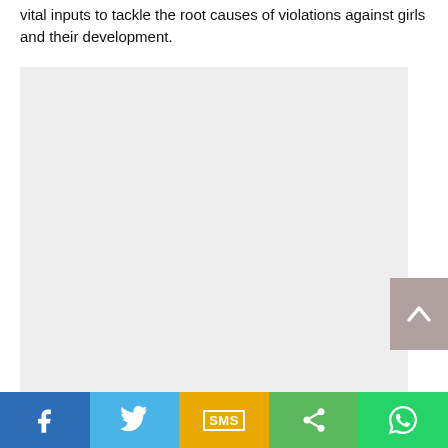vital inputs to tackle the root causes of violations against girls and their development.
[Figure (other): Light gray rectangular placeholder box occupying the central area of the page]
[Figure (screenshot): Social media share bar with five buttons: Facebook (blue), Twitter (light blue), SMS (yellow/amber), Share (green), WhatsApp (green)]